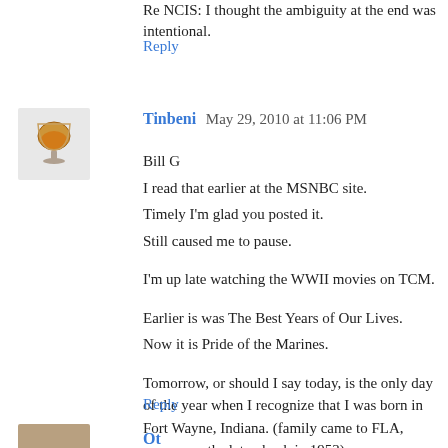Re NCIS: I thought the ambiguity at the end was intentional.
Reply
Tinbeni  May 29, 2010 at 11:06 PM
Bill G
I read that earlier at the MSNBC site.
Timely I'm glad you posted it.
Still caused me to pause.

I'm up late watching the WWII movies on TCM.

Earlier is was The Best Years of Our Lives.
Now it is Pride of the Marines.

Tomorrow, or should I say today, is the only day of the year when I recognize that I was born in Fort Wayne, Indiana. (family came to FLA, seven months later, back in 1953).
Reply